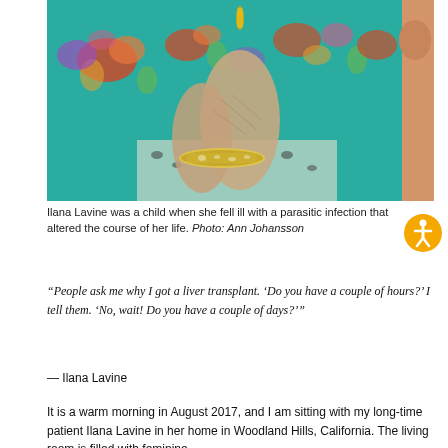[Figure (photo): Close-up photo of an elderly woman's hands and torso. She is wearing a colorful floral teal blouse and a sparkling gold bracelet on her wrist. Her hands are clasped together. A partial view of another person is visible on the right edge.]
Ilana Lavine was a child when she fell ill with a parasitic infection that altered the course of her life. Photo: Ann Johansson
“People ask me why I got a liver transplant. ‘Do you have a couple of hours?’ I tell them. ‘No, wait! Do you have a couple of days?’”
— Ilana Lavine
It is a warm morning in August 2017, and I am sitting with my long-time patient Ilana Lavine in her home in Woodland Hills, California. The living room is filled with feminine